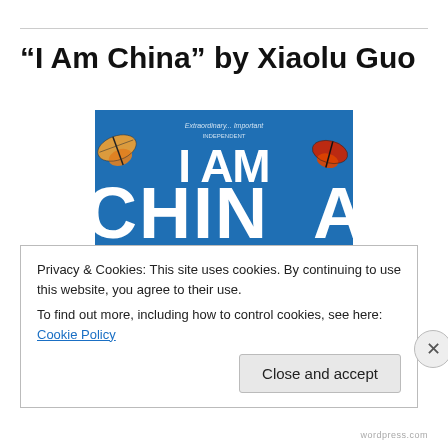“I Am China” by Xiaolu Guo
[Figure (photo): Book cover of 'I Am China' by Xiaolu Guo, showing bold white text 'I AM CHINA' on a blue background with butterflies, and yellow text 'XIAOLU GUO' below. Subtitle reads 'Granta Best of Young British Novelists'.]
Privacy & Cookies: This site uses cookies. By continuing to use this website, you agree to their use.
To find out more, including how to control cookies, see here: Cookie Policy
Close and accept